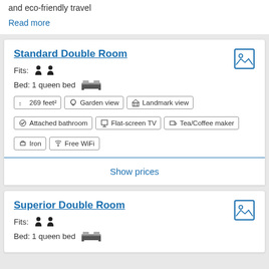and eco-friendly travel
Read more
Standard Double Room
Fits: [person icons x2]
Bed: 1 queen bed
269 feet²
Garden view
Landmark view
Attached bathroom
Flat-screen TV
Tea/Coffee maker
Iron
Free WiFi
Show prices
Superior Double Room
Fits: [person icons x2]
Bed: 1 queen bed